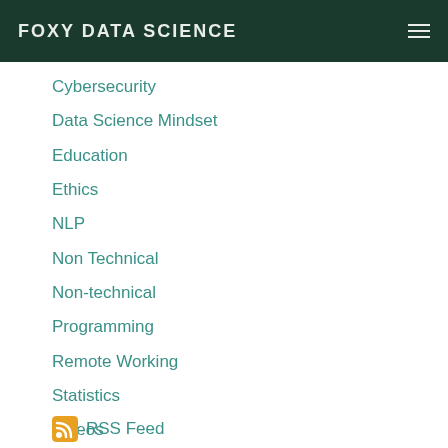FOXY DATA SCIENCE
Cybersecurity
Data Science Mindset
Education
Ethics
NLP
Non Technical
Non-technical
Programming
Remote Working
Statistics
Videos
Writing
RSS Feed